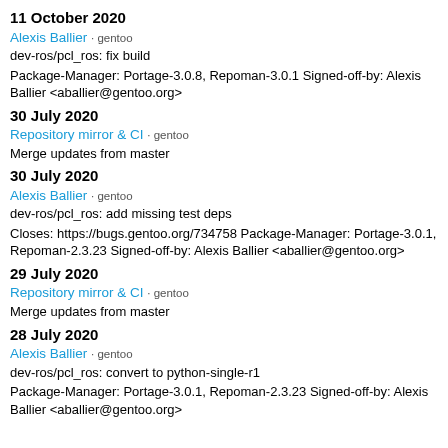11 October 2020
Alexis Ballier · gentoo
dev-ros/pcl_ros: fix build
Package-Manager: Portage-3.0.8, Repoman-3.0.1 Signed-off-by: Alexis Ballier <aballier@gentoo.org>
30 July 2020
Repository mirror & CI · gentoo
Merge updates from master
30 July 2020
Alexis Ballier · gentoo
dev-ros/pcl_ros: add missing test deps
Closes: https://bugs.gentoo.org/734758 Package-Manager: Portage-3.0.1, Repoman-2.3.23 Signed-off-by: Alexis Ballier <aballier@gentoo.org>
29 July 2020
Repository mirror & CI · gentoo
Merge updates from master
28 July 2020
Alexis Ballier · gentoo
dev-ros/pcl_ros: convert to python-single-r1
Package-Manager: Portage-3.0.1, Repoman-2.3.23 Signed-off-by: Alexis Ballier <aballier@gentoo.org>